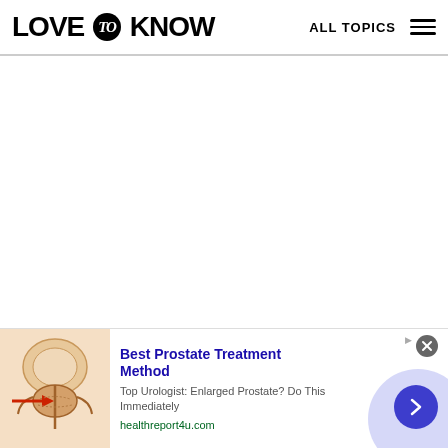LOVE to KNOW | ALL TOPICS
[Figure (other): Blank white content area (article body area, no visible content loaded)]
[Figure (illustration): Advertisement banner: anatomical illustration of prostate gland with red arrow indicator. Ad text: 'Best Prostate Treatment Method - Top Urologist: Enlarged Prostate? Do This Immediately - healthreport4u.com'. Contains circular blue/purple arrow button and close (X) button.]